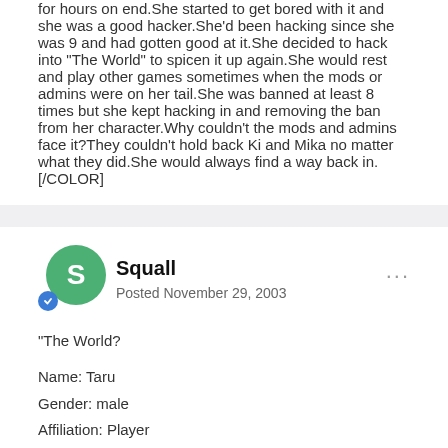for hours on end.She started to get bored with it and she was a good hacker.She'd been hacking since she was 9 and had gotten good at it.She decided to hack into "The World" to spicen it up again.She would rest and play other games sometimes when the mods or admins were on her tail.She was banned at least 8 times but she kept hacking in and removing the ban from her character.Why couldn't the mods and admins face it?They couldn't hold back Ki and Mika no matter what they did.She would always find a way back in.[/COLOR]
Squall
Posted November 29, 2003
"The World?

Name: Taru
Gender: male
Affiliation: Player
Class: Heavy Blade, wavemaster
Special Ability: Fusion